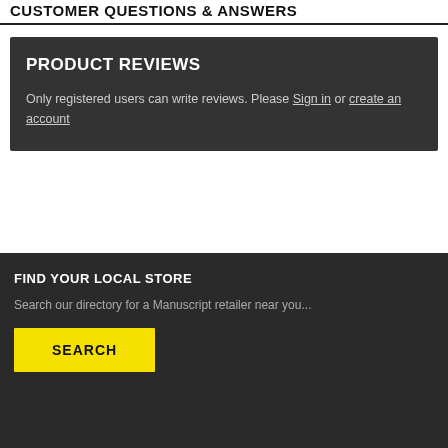CUSTOMER QUESTIONS & ANSWERS
PRODUCT REVIEWS
Only registered users can write reviews. Please Sign in or create an account
FIND YOUR LOCAL STORE
Search our directory for a Manuscript retailer near you...
SEARCH